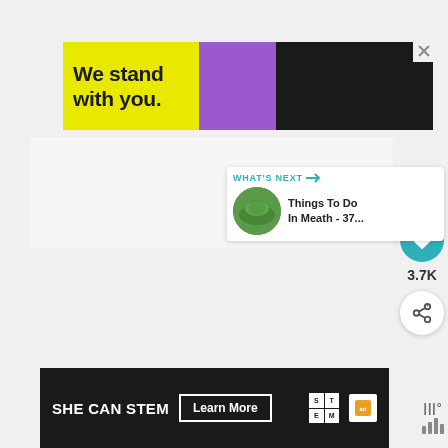[Figure (infographic): Advertisement banner with yellow, purple, and black sections. Bold text reads 'We stand with you.' with a close (X) button in the top right corner.]
[Figure (screenshot): Main white content area of a webpage, mostly blank/white space.]
[Figure (infographic): Sidebar UI widgets: teal heart/like button, '3.7K' count label, white share button with network icon.]
[Figure (infographic): 'WHAT'S NEXT' card showing a thumbnail of green landscape, and title text 'Things To Do In Meath - 37...']
[Figure (infographic): Bottom advertisement banner: dark background, 'SHE CAN STEM' text, 'Learn More' button, STEM logo grid, Ad Council logo.]
[Figure (infographic): Bottom right widget showing small bar/audio icon and degree symbol.]